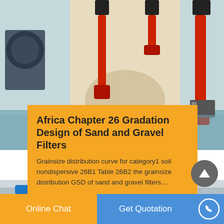[Figure (photo): Industrial machinery photo showing red hydraulic cylinders and cream-colored equipment in a factory setting]
Africa Chapter 26 Gradation Design of Sand and Gravel Filters
Grainsize distribution curve for category1 soil nondispersive 26B1 Table 26B2 the grainsize distribution GSD of sand and gravel filters…
[Figure (photo): Industrial facility interior with blue pipes and large metal tanks]
Online Chat    Get Quotation